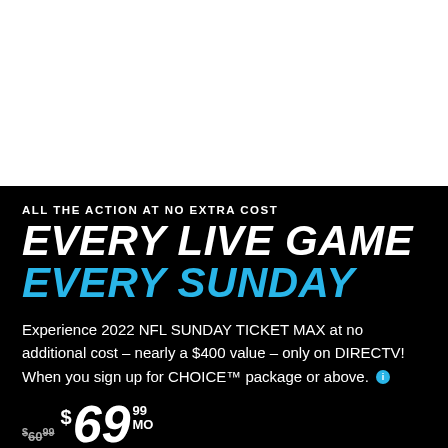[Figure (photo): White blank top area (likely an image placeholder or cropped image)]
ALL THE ACTION AT NO EXTRA COST
EVERY LIVE GAME EVERY SUNDAY
Experience 2022 NFL SUNDAY TICKET MAX at no additional cost – nearly a $400 value – only on DIRECTV! When you sign up for CHOICE™ package or above.
$69.99/MO